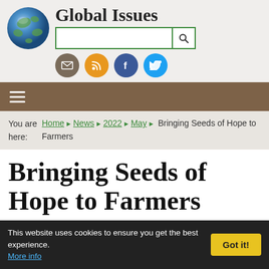Global Issues
[Figure (logo): Globe icon representing Global Issues website logo]
You are here: Home > News > 2022 > May > Bringing Seeds of Hope to Farmers
Bringing Seeds of Hope to Farmers
OPINION by Paul Teng, Genevieve Donnellon-May (Singapore)
This website uses cookies to ensure you get the best experience. More info